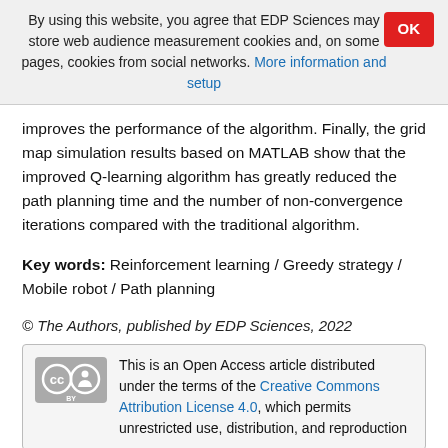By using this website, you agree that EDP Sciences may store web audience measurement cookies and, on some pages, cookies from social networks. More information and setup
improves the performance of the algorithm. Finally, the grid map simulation results based on MATLAB show that the improved Q-learning algorithm has greatly reduced the path planning time and the number of non-convergence iterations compared with the traditional algorithm.
Key words: Reinforcement learning / Greedy strategy / Mobile robot / Path planning
© The Authors, published by EDP Sciences, 2022
This is an Open Access article distributed under the terms of the Creative Commons Attribution License 4.0, which permits unrestricted use, distribution, and reproduction